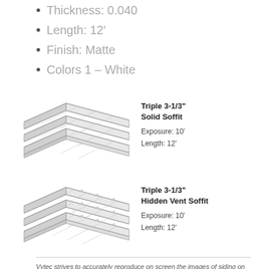Thickness: 0.040
Length: 12'
Finish: Matte
Colors 1 – White
[Figure (engineering-diagram): Triple 3-1/3" Solid Soffit panel profile shown in perspective/isometric view with three parallel ribbed panels]
Triple 3-1/3" Solid Soffit
Exposure: 10'
Length: 12'
[Figure (engineering-diagram): Triple 3-1/3" Hidden Vent Soffit panel profile shown in perspective/isometric view with three parallel ribbed panels with vent perforations]
Triple 3-1/3" Hidden Vent Soffit
Exposure: 10'
Length: 12'
Vytec strives to accurately reproduce on screen the images of siding on this site. However, due to manufacturing variances, the limitations of your monitor resolution and the variation in natural exterior lighting, actual